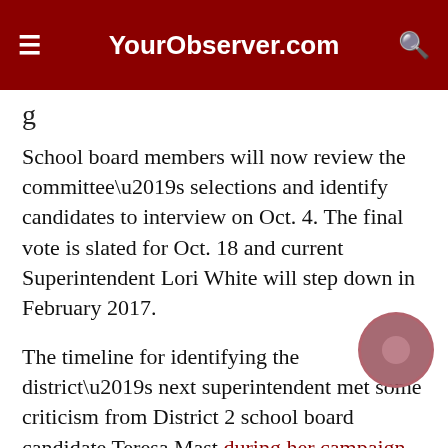YourObserver.com
School board members will now review the committee’s selections and identify candidates to interview on Oct. 4. The final vote is slated for Oct. 18 and current Superintendent Lori White will step down in February 2017.
The timeline for identifying the district’s next superintendent met some criticism from District 2 school board candidate Teresa Mast during her campaign against incumbent Caroline Zucker. Mast maintained that the schedule was created to intentionally exclude incoming conservative